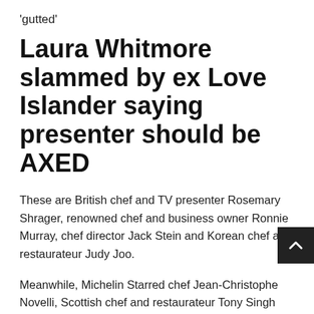'gutted'
Laura Whitmore slammed by ex Love Islander saying presenter should be AXED
These are British chef and TV presenter Rosemary Shrager, renowned chef and business owner Ronnie Murray, chef director Jack Stein and Korean chef and restaurateur Judy Joo.
Meanwhile, Michelin Starred chef Jean-Christophe Novelli, Scottish chef and restaurateur Tony Singh MBE, author and regular chef on This Morning Clodagh McKenna and restaurateur and TV personality Mike Reid, are all set to join the show too.